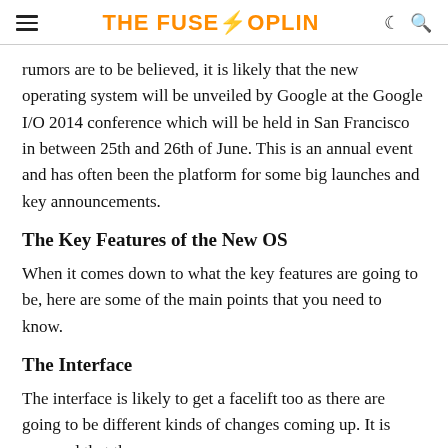THE FUSE OPLIN
rumors are to be believed, it is likely that the new operating system will be unveiled by Google at the Google I/O 2014 conference which will be held in San Francisco in between 25th and 26th of June. This is an annual event and has often been the platform for some big launches and key announcements.
The Key Features of the New OS
When it comes down to what the key features are going to be, here are some of the main points that you need to know.
The Interface
The interface is likely to get a facelift too as there are going to be different kinds of changes coming up. It is rumored that the